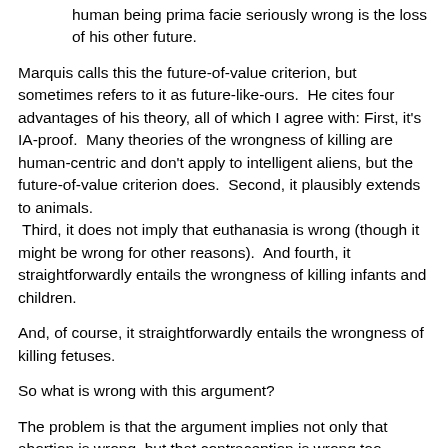human being prima facie seriously wrong is the loss of his other future.
Marquis calls this the future-of-value criterion, but sometimes refers to it as future-like-ours.  He cites four advantages of his theory, all of which I agree with: First, it's IA-proof.  Many theories of the wrongness of killing are human-centric and don't apply to intelligent aliens, but the future-of-value criterion does.  Second, it plausibly extends to animals.  Third, it does not imply that euthanasia is wrong (though it might be wrong for other reasons).  And fourth, it straightforwardly entails the wrongness of killing infants and children.
And, of course, it straightforwardly entails the wrongness of killing fetuses.
So what is wrong with this argument?
The problem is that the argument implies not only that abortion is wrong, but that contraception is wrong too, because it destroys the same future-of-value that abortion